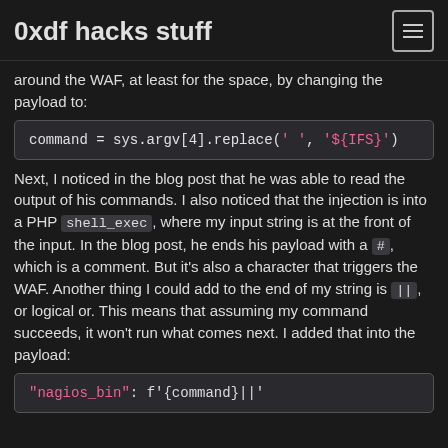0xdf hacks stuff
around the WAF, at least for the space, by changing the payload to:
Next, I noticed in the blog post that he was able to read the output of his commands. I also noticed that the injection is into a PHP shell_exec, where my input string is at the front of the input. In the blog post, he ends his payload with a #, which is a comment. But it's also a character that triggers the WAF. Another thing I could add to the end of my string is ||, or logical or. This means that assuming my command succeeds, it won't run what comes next. I added that into the payload: